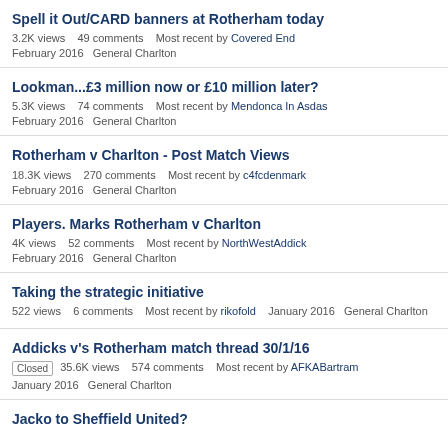Spell it Out/CARD banners at Rotherham today
3.2K views   49 comments   Most recent by Covered End   February 2016   General Charlton
Lookman...£3 million now or £10 million later?
5.3K views   74 comments   Most recent by Mendonca In Asdas   February 2016   General Charlton
Rotherham v Charlton - Post Match Views
18.3K views   270 comments   Most recent by c4fcdenmark   February 2016   General Charlton
Players. Marks Rotherham v Charlton
4K views   52 comments   Most recent by NorthWestAddick   February 2016   General Charlton
Taking the strategic initiative
522 views   6 comments   Most recent by rikofold   January 2016   General Charlton
Addicks v's Rotherham match thread 30/1/16
Closed   35.6K views   574 comments   Most recent by AFKABartram   January 2016   General Charlton
Jacko to Sheffield United?